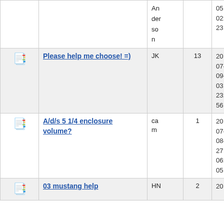|  | Topic | User | Replies | Date |
| --- | --- | --- | --- | --- |
| [icon] |  | Anderson |  | 05 02:23 |
| [icon] | Please help me choose! =) | JK | 13 | 2007-09-03 23:56 |
| [icon] | A/d/s 5 1/4 enclosure volume? | cam | 1 | 2007-08-27 06:05 |
| [icon] | 03 mustang help | HN | 2 | 20... |